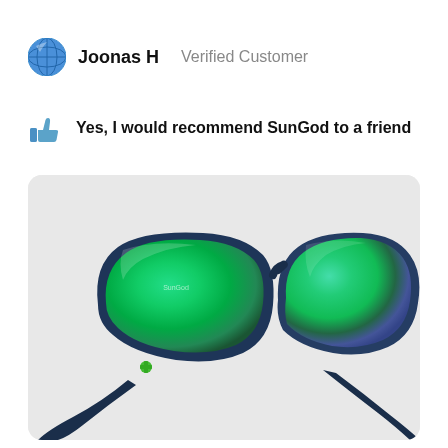Joonas H   Verified Customer
Yes, I would recommend SunGod to a friend
[Figure (photo): Photo of dark navy blue SunGod sunglasses with green mirrored lenses, shown from a slightly top-down angle on a light grey background. The frames are matte navy/dark blue with a green SunGod logo on the temple arm.]